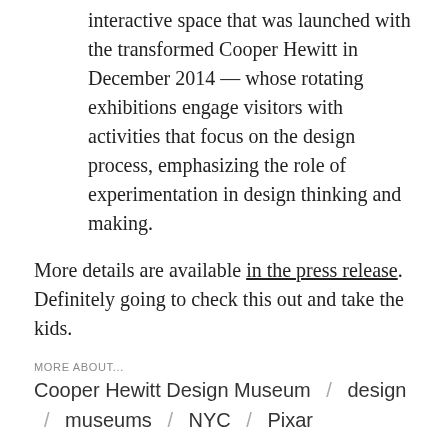interactive space that was launched with the transformed Cooper Hewitt in December 2014 — whose rotating exhibitions engage visitors with activities that focus on the design process, emphasizing the role of experimentation in design thinking and making.
More details are available in the press release. Definitely going to check this out and take the kids.
MORE ABOUT...
Cooper Hewitt Design Museum / design / museums / NYC / Pixar
The Good Dinosaur
Jason Kottke  Jul 22, 2015